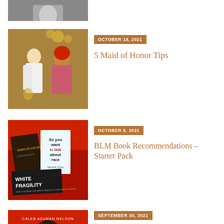[Figure (photo): Cropped black and white photo of a person, partially visible at top of page]
[Figure (photo): Two women posing together at a celebration with balloons and decorations]
OCTOBER 18, 2021
5 Maid of Honor Tips
[Figure (photo): Books on a red background including White Fragility and So you want to talk about race]
OCTOBER 8, 2021
BLM Book Recommendations – Starter Pack
[Figure (photo): Book cover of OPEN by Caleb Azumah Nelson]
SEPTEMBER 30, 2021
Diverse Love Story